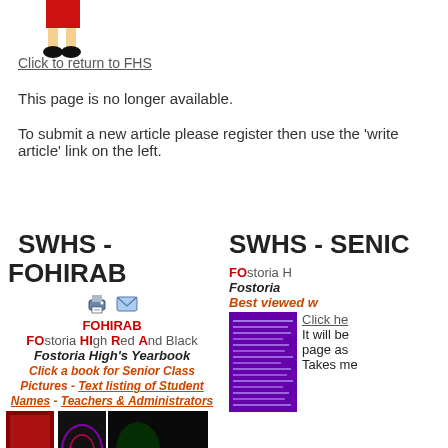[Figure (illustration): Pixel art cartoon character (girl in red dress with black shoes), lower body visible]
Click to return to FHS
This page is no longer available.
To submit a new article please register then use the 'write article' link on the left.
SWHS - FOHIRAB
SWHS - SENIC
[Figure (illustration): Printer icon and email/envelope icon]
FOHIRAB
FOstoria HIgh Red And Black
Fostoria High's Yearbook
Click a book for Senior Class Pictures - Text listing of Student Names - Teachers & Administrators
[Figure (photo): Two yearbook cover thumbnails shown side by side (left: red cover with 2002, right: dark with 2015 numbers)]
FOstoria H
Fostoria
Best viewed w
[Figure (screenshot): Purple/violet colored box with small text content]
Click he
It will be
page as
Takes me